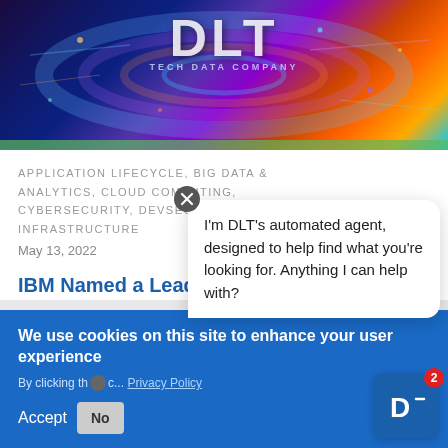[Figure (photo): Hero banner image with DLT logo/text overlaid on colorful technology circuit/network visualization background in purple, orange, blue tones. Text reads 'DLT' and 'TECH DATA COMPANY' subtitle.]
APPLICATION LIFECYCLE, BIG DATA & ANALYTICS, CLOUD COMPUTING, CYBERSECURITY, DEVSECOPS, IT INFRASTRUCTURE
May 13, 2022
IBM Named a Leader in the 2021
We use cookies on this site to enhance your user experience
By clicking th... Privacy Policy
Accept   No
I'm DLT's automated agent, designed to help find what you're looking for. Anything I can help with?